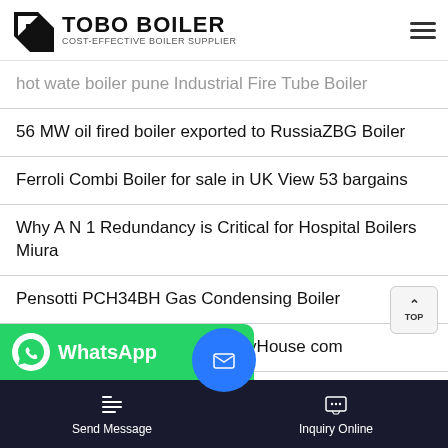TOBO BOILER COST-EFFECTIVE BOILER SUPPLIER
hot wate boiler pune Industrial Fire Tube Boiler
56 MW oil fired boiler exported to RussiaZBG Boiler
Ferroli Combi Boiler for sale in UK View 53 bargains
Why A N 1 Redundancy is Critical for Hospital Boilers Miura
Pensotti PCH34BH Gas Condensing Boiler
Weil Mclain CGA Boilers SupplyHouse com
2ton Boiler in Sri Lanka ZOZEN Horizontal Gas Boiler
C TX 77394 More 46
[Figure (screenshot): WhatsApp banner with green background and WhatsApp logo and text]
[Figure (screenshot): Blue email/message circular bubble button]
Send Message   Inquiry Online